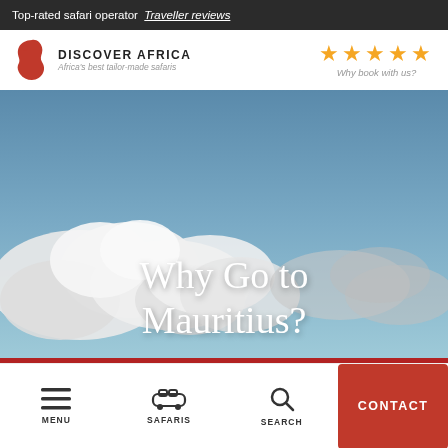Top-rated safari operator Traveller reviews
[Figure (logo): Discover Africa logo with Africa map icon, company name and tagline 'Africa's best tailor-made safaris', plus 5-star rating and 'Why book with us?' text]
[Figure (photo): Aerial or wide-angle photo of blue sky with large white clouds near a coastline or savanna horizon, overlaid with white serif text reading 'Why Go to Mauritius?']
Why Go to Mauritius?
MENU  SAFARIS  SEARCH  CONTACT